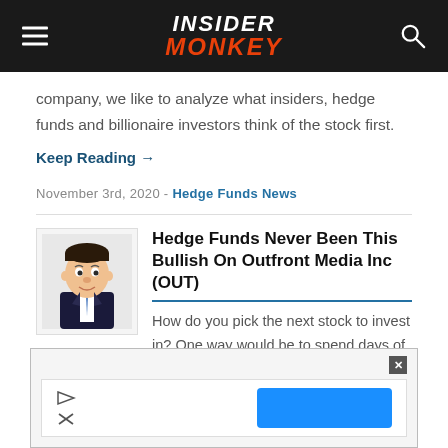Insider Monkey
company, we like to analyze what insiders, hedge funds and billionaire investors think of the stock first.
Keep Reading →
November 3rd, 2020 - Hedge Funds News
[Figure (illustration): Cartoon caricature of a man in a suit]
Hedge Funds Never Been This Bullish On Outfront Media Inc (OUT)
How do you pick the next stock to invest in? One way would be to spend days of research browsing through thousands of publicly traded companies.
[Figure (screenshot): Advertisement banner with close button, play and close icons on left, blue button on right]